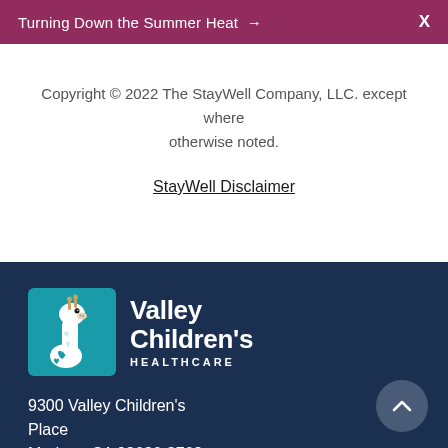Turning Down the Summer Heat → X
Copyright © 2022 The StayWell Company, LLC. except where otherwise noted.
StayWell Disclaimer
[Figure (logo): Valley Children's Healthcare logo with giraffe mascot on teal background]
9300 Valley Children's Place
Madera, CA 93636-8762